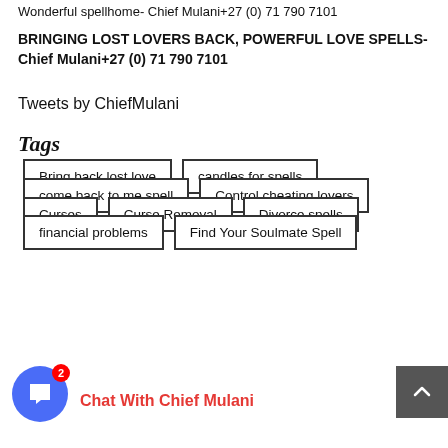Wonderful spellhome- Chief Mulani+27 (0) 71 790 7101
BRINGING LOST LOVERS BACK, POWERFUL LOVE SPELLS- Chief Mulani+27 (0) 71 790 7101
Tweets by ChiefMulani
Tags
Bring back lost love
candles for spells
come back to me spell
Control cheating lovers
Curses
Curse Removal
Divorce spells
financial problems
Find Your Soulmate Spell
Chat With Chief Mulani